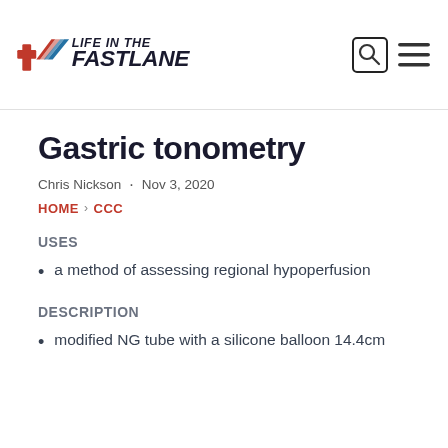LIFE IN THE FASTLANE
Gastric tonometry
Chris Nickson · Nov 3, 2020
HOME › CCC
USES
a method of assessing regional hypoperfusion
DESCRIPTION
modified NG tube with a silicone balloon 14.4cm